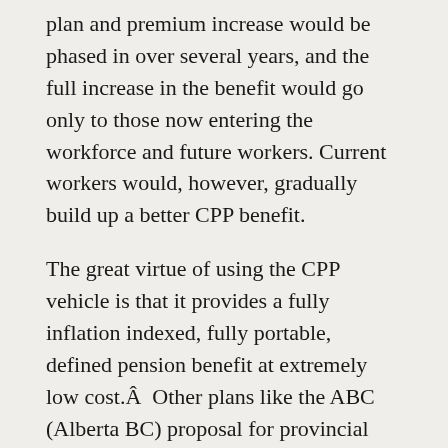plan and premium increase would be phased in over several years, and the full increase in the benefit would go only to those now entering the workforce and future workers. Current workers would, however, gradually build up a better CPP benefit.
The great virtue of using the CPP vehicle is that it provides a fully inflation indexed, fully portable, defined pension benefit at extremely low cost.Â  Other plans like the ABC (Alberta BC) proposal for provincial defined contribution plans and the similar national proposal put forward by Keith Ambactscheer do create larger pools than individual savings, but fall well short of the CPP.Â  At the same time,Â  a doubled CPP would still leave room for employer based plans intended to provide better benefits, notably earlier retirement, than the CPP. Gradually doubling the CPP would take some of the burden off existing employer